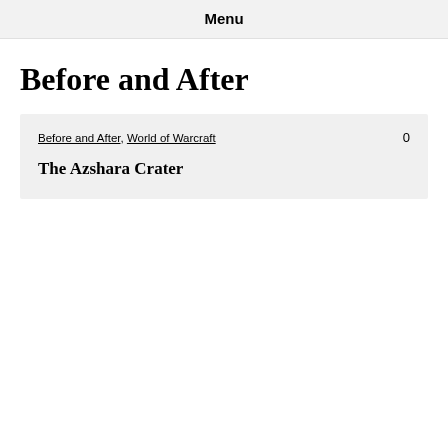Menu
Before and After
Before and After, World of Warcraft   0
The Azshara Crater